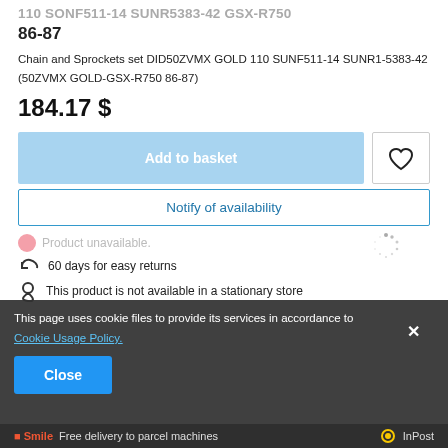110 SONF511-14 SUNR5383-42 GSX-R750
86-87
Chain and Sprockets set DID50ZVMX GOLD 110 SUNF511-14 SUNR1-5383-42 (50ZVMX GOLD-GSX-R750 86-87)
184.17 $
Add to basket
Notify of availability
Product unavailable.
60 days for easy returns
This product is not available in a stationary store
This page uses cookie files to provide its services in accordance to Cookie Usage Policy.
Close
Free delivery to parcel machines   InPost